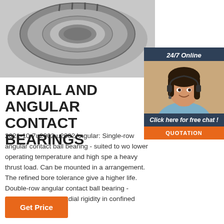[Figure (photo): Top-down photo of a radial/angular contact ball bearing showing metallic ring and balls on grey background]
[Figure (photo): 24/7 Online customer service representative - woman with headset smiling]
Click here for free chat !
QUOTATION
RADIAL AND ANGULAR CONTACT BEARINGS
2021-10-7u2002·u2002Angular: Single-row angular contact ball bearing - suited to work with lower operating temperature and high speed with a heavy thrust load. Can be mounted in a arrangement. The refined bore tolerance give a higher life. Double-row angular contact ball bearing - excellent axial and radial rigidity in confined space. A D
Get Price